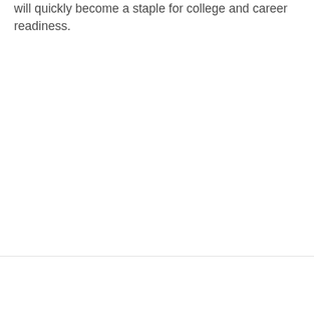will quickly become a staple for college and career readiness.